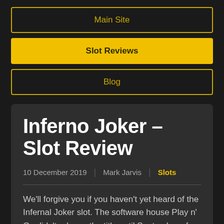Main Site
Slot Reviews
Blog
Inferno Joker – Slot Review
10 December 2019 | Mark Jarvis | Slots
We'll forgive you if you haven't yet heard of the Infernal Joker slot. The software house Play n' Go didn't release the title until September of this year.